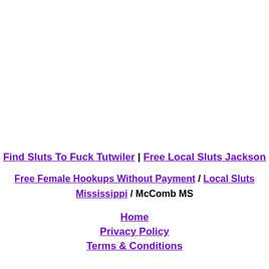Find Sluts To Fuck Tutwiler | Free Local Sluts Jackson
Free Female Hookups Without Payment / Local Sluts Mississippi / McComb MS
Home
Privacy Policy
Terms & Conditions